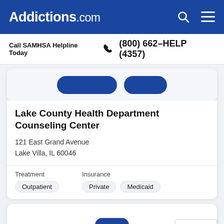Addictions.com
Call SAMHSA Helpline Today (800) 662-HELP (4357)
[Figure (screenshot): Partial view of a facility card showing two blue rounded buttons cropped at the top]
Lake County Health Department Counseling Center
121 East Grand Avenue
Lake Villa, IL 60046
Treatment
Outpatient
Insurance
Private  Medicaid
[Figure (screenshot): Partial view of a second facility card showing a blue icon at the bottom, partially cropped]
[Figure (logo): reCAPTCHA badge with Privacy and Terms links in the bottom right corner]